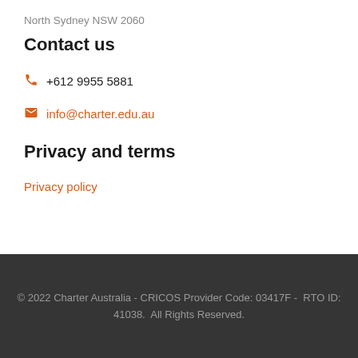North Sydney NSW 2060
Contact us
+612 9955 5881
info@charter.edu.au
Privacy and terms
Privacy policy
© 2022 Charter Australia - CRICOS Provider Code: 03417F -  RTO ID: 41038.  All Rights Reserved.